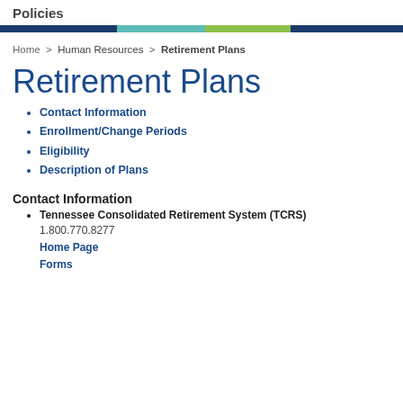Policies
Home > Human Resources > Retirement Plans
Retirement Plans
Contact Information
Enrollment/Change Periods
Eligibility
Description of Plans
Contact Information
Tennessee Consolidated Retirement System (TCRS)
1.800.770.8277
Home Page
Forms